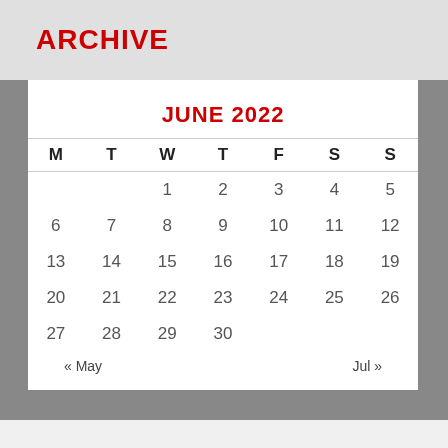ARCHIVE
JUNE 2022
| M | T | W | T | F | S | S |
| --- | --- | --- | --- | --- | --- | --- |
|  |  | 1 | 2 | 3 | 4 | 5 |
| 6 | 7 | 8 | 9 | 10 | 11 | 12 |
| 13 | 14 | 15 | 16 | 17 | 18 | 19 |
| 20 | 21 | 22 | 23 | 24 | 25 | 26 |
| 27 | 28 | 29 | 30 |  |  |  |
« May    Jul »